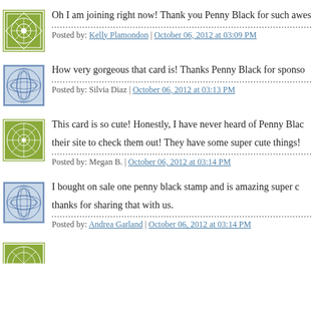Oh I am joining right now! Thank you Penny Black for such awe... | Posted by: Kelly Plamondon | October 06, 2012 at 03:09 PM
How very gorgeous that card is! Thanks Penny Black for sponso... | Posted by: Silvia Diaz | October 06, 2012 at 03:13 PM
This card is so cute! Honestly, I have never heard of Penny Bla... their site to check them out! They have some super cute things! | Posted by: Megan B. | October 06, 2012 at 03:14 PM
I bought on sale one penny black stamp and is amazing super c... thanks for sharing that with us. | Posted by: Andrea Garland | October 06, 2012 at 03:14 PM